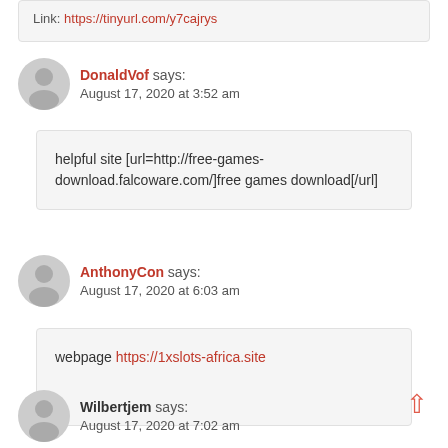Link: https://tinyurl.com/y7cajrys
DonaldVof says: August 17, 2020 at 3:52 am
helpful site [url=http://free-games-download.falcoware.com/]free games download[/url]
AnthonyCon says: August 17, 2020 at 6:03 am
webpage https://1xslots-africa.site
Wilbertjem says: August 17, 2020 at 7:02 am